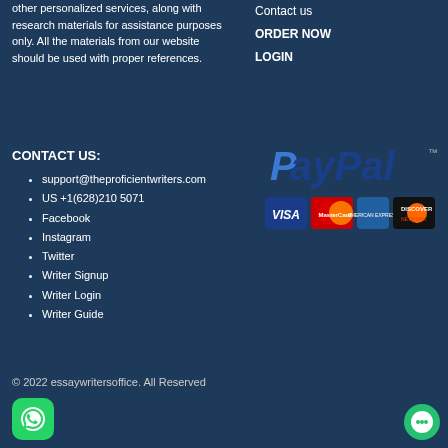other personalized services, along with research materials for assistance purposes only. All the materials from our website should be used with proper references.
Contact us
ORDER NOW
LOGIN
CONTACT US:
support@theproficientwriters.com
US +1(628)210 5071
Facebook
Instagram
Twitter
Writer Signup
Writer Login
Writer Guide
[Figure (logo): PayPal logo and payment card icons: Visa, MasterCard, American Express, Discover]
© 2022 essaywritersoffice. All Reserved
[Figure (logo): WhatsApp button icon (green rounded square)]
[Figure (logo): Chat/support button (green circle)]